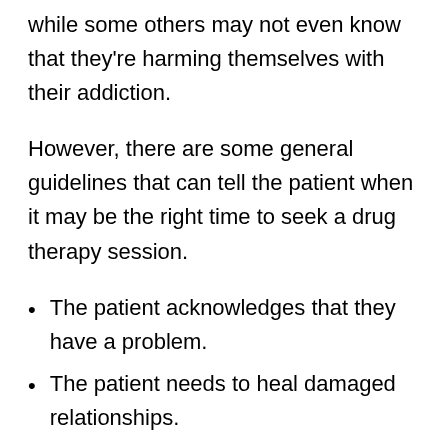while some others may not even know that they're harming themselves with their addiction.
However, there are some general guidelines that can tell the patient when it may be the right time to seek a drug therapy session.
The patient acknowledges that they have a problem.
The patient needs to heal damaged relationships.
The patient doesn't know the root cause of